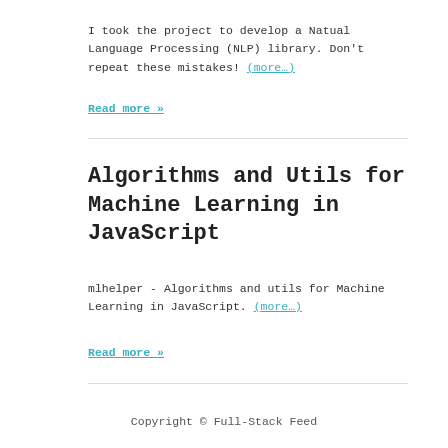I took the project to develop a Natual Language Processing (NLP) library. Don't repeat these mistakes! (more…)
Read more »
Algorithms and Utils for Machine Learning in JavaScript
mlhelper - Algorithms and utils for Machine Learning in JavaScript. (more…)
Read more »
Copyright © Full-Stack Feed